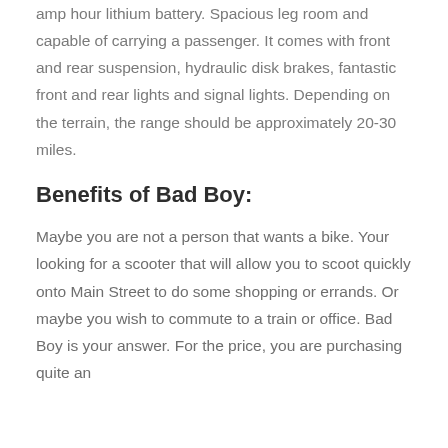amp hour lithium battery. Spacious leg room and capable of carrying a passenger. It comes with front and rear suspension, hydraulic disk brakes, fantastic front and rear lights and signal lights. Depending on the terrain, the range should be approximately 20-30 miles.
Benefits of Bad Boy:
Maybe you are not a person that wants a bike. Your looking for a scooter that will allow you to scoot quickly onto Main Street to do some shopping or errands. Or maybe you wish to commute to a train or office. Bad Boy is your answer. For the price, you are purchasing quite an